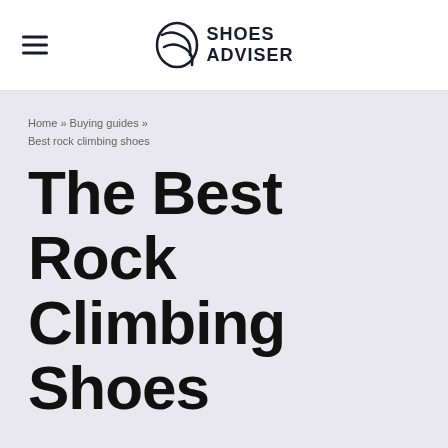SHOES ADVISER
Home » Buying guides » Best rock climbing shoes
The Best Rock Climbing Shoes
By Shoes Adviser Staff | Last updated: Saturday, May 28, 2022